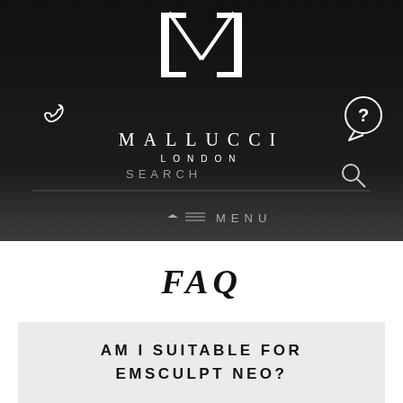[Figure (logo): Mallucci London logo — stylized 'I/M' monogram in white on dark background, with 'MALLUCCI' and 'LONDON' text below]
SEARCH
MENU
FAQ
AM I SUITABLE FOR EMSCULPT NEO?